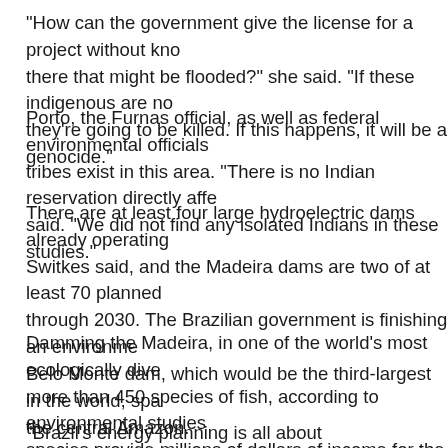"How can the government give the license for a project without knowing if there are indigenous people there that might be flooded?" she said. "If these indigenous are not contacted, they're going to be killed. If this happens, it will be a genocide."
Porto, the Furnas official, as well as federal environmental officials, say no isolated tribes exist in this area. "There is no Indian reservation directly affected," Porto said. "We did not find any isolated Indians in these studies."
There are at least four large hydroelectric dams already operating on the Madeira, Switkes said, and the Madeira dams are two of at least 70 planned for Amazon tributaries through 2030. The Brazilian government is finishing an environmental review for the Belo Monte dam, which would be the third-largest in the world, spanning a river in the central Amazon.
Damming the Madeira, in one of the world's most ecologically diverse rivers, could kill more than 450 species of fish, according to environmental studies. These migratory species provide millions of dollars of income for the area's fishing industry.
"Brazil's energy planning is all about hydroelectricity, and most of t